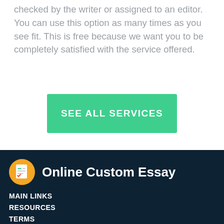checked by the writer or assigned to an editor. You can use this option as many times as you see fit. This is free because we want you to be completely satisfied with the service offered.
[Figure (other): Green button with text 'SEE ALL SERVICES']
[Figure (logo): Online Custom Essay logo with yellow circle icon containing a document/checklist graphic]
MAIN LINKS
RESOURCES
TERMS
CONTACT US